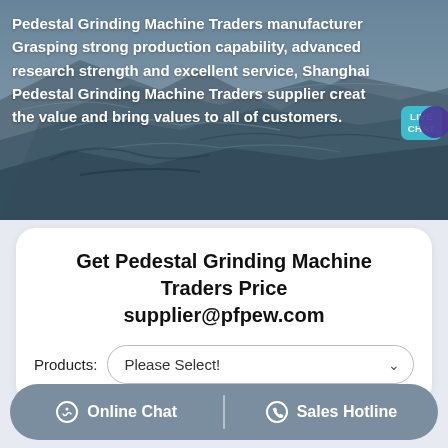[Figure (photo): Aerial/overhead photo of rocky quarry or mining terrain with blue-grey tones, text overlay about Pedestal Grinding Machine Traders with a Live Chat bubble in the upper right corner.]
Pedestal Grinding Machine Traders manufacturer Grasping strong production capability, advanced research strength and excellent service, Shanghai Pedestal Grinding Machine Traders supplier create the value and bring values to all of customers.
Get Pedestal Grinding Machine Traders Price supplier@pfpew.com
Products: Please Select!
Online Chat | Sales Hotline